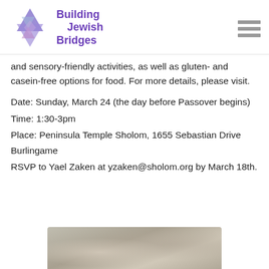Building Jewish Bridges
and sensory-friendly activities, as well as gluten- and casein-free options for food. For more details, please visit.
Date: Sunday, March 24 (the day before Passover begins)
Time: 1:30-3pm
Place: Peninsula Temple Sholom, 1655 Sebastian Drive Burlingame
RSVP to Yael Zaken at yzaken@sholom.org by March 18th.
[Figure (photo): Photo of what appears to be Passover seder plate or matzah food items]